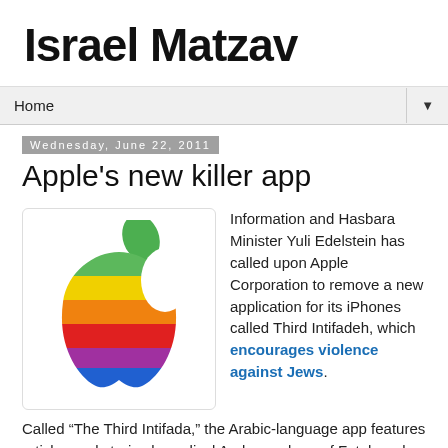Israel Matzav
Home
Wednesday, June 22, 2011
Apple's new killer app
[Figure (logo): Rainbow-striped Apple logo (classic multicolor Apple Inc. logo with green leaf, stripes of green, yellow, orange, red, purple, blue)]
Information and Hasbara Minister Yuli Edelstein has called upon Apple Corporation to remove a new application for its iPhones called Third Intifadeh, which encourages violence against Jews.
Called “The Third Intifada,” the Arabic-language app features articles and stories by radical Arab members of Fatah and Hamas, as well as members of the